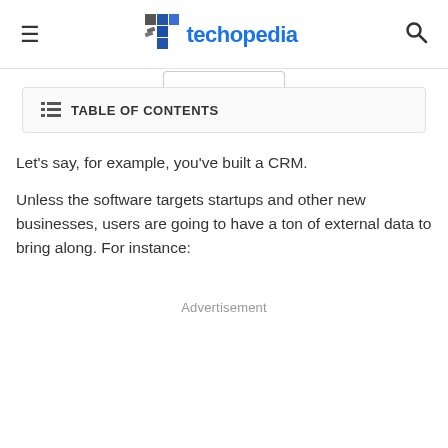☰  techopedia  🔍
☰ TABLE OF CONTENTS
Let's say, for example, you've built a CRM.
Unless the software targets startups and other new businesses, users are going to have a ton of external data to bring along. For instance:
Advertisement